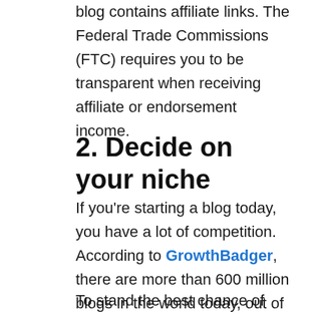blog contains affiliate links. The Federal Trade Commissions (FTC) requires you to be transparent when receiving affiliate or endorsement income.
2. Decide on your niche
If you're starting a blog today, you have a lot of competition. According to GrowthBadger, there are more than 600 million blogs in the world today, out of over 1.7 billion websites.
To stand the best chance of success, niche down